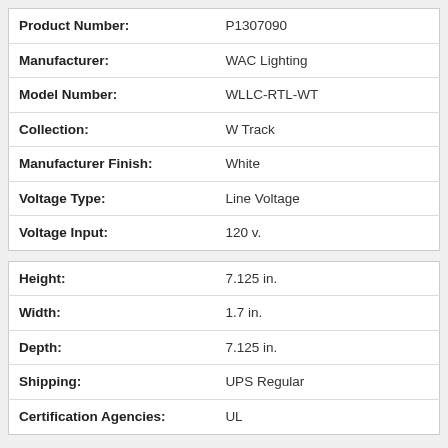| Attribute | Value |
| --- | --- |
| Product Number: | P1307090 |
| Manufacturer: | WAC Lighting |
| Model Number: | WLLC-RTL-WT |
| Collection: | W Track |
| Manufacturer Finish: | White |
| Voltage Type: | Line Voltage |
| Voltage Input: | 120 v. |
| Attribute | Value |
| --- | --- |
| Height: | 7.125 in. |
| Width: | 1.7 in. |
| Depth: | 7.125 in. |
| Shipping: | UPS Regular |
| Certification Agencies: | UL |